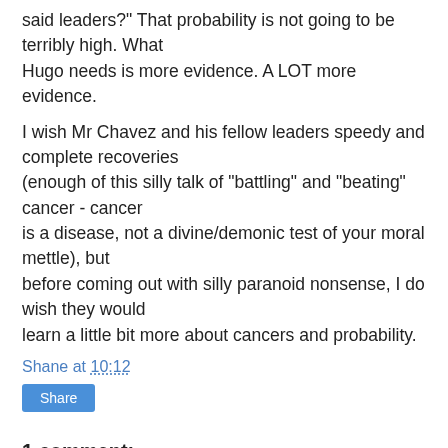said leaders?" That probability is not going to be terribly high. What Hugo needs is more evidence. A LOT more evidence.
I wish Mr Chavez and his fellow leaders speedy and complete recoveries (enough of this silly talk of "battling" and "beating" cancer - cancer is a disease, not a divine/demonic test of your moral mettle), but before coming out with silly paranoid nonsense, I do wish they would learn a little bit more about cancers and probability.
Shane at 10:12
Share
1 comment:
Shane 8 January 2012 at 21:28